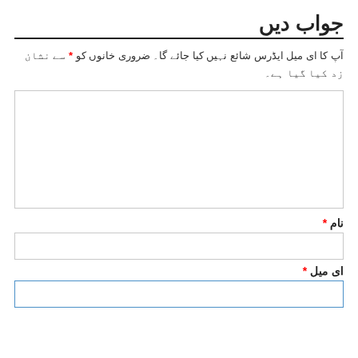جواب دیں
آپ کا ای میل ایڈرس شائع نہیں کیا جائے گا۔ ضروری خانوں کو * سے نشان زد کیا گیا ہے۔
(comment textarea field)
نام *
(name input field)
ای میل *
(email input field)